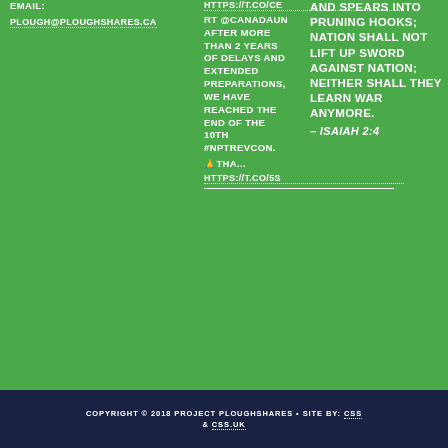EMAIL: PLOUGH@PLOUGHSHARES.CA
RT @CANADAUN AFTER MORE THAN 2 YEARS OF DELAYS AND EXTENDED PREPARATIONS, WE HAVE REACHED THE END OF THE 10TH #NPTREVCON. 🙏THA... HTTPS://T.CO/5S
AND SPEARS INTO PRUNING HOOKS; NATION SHALL NOT LIFT UP SWORD AGAINST NATION; NEITHER SHALL THEY LEARN WAR ANYMORE. – ISAIAH 2:4
COPYRIGHT © 2018 PROJECT PLOUGHSHARES • SITE BY: CSS & CSS.UK